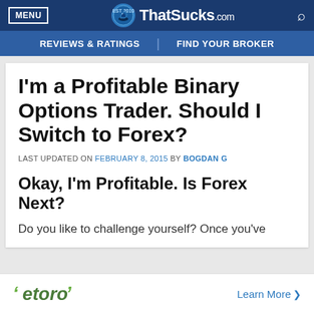MENU | ThatSucks.com | REVIEWS & RATINGS | FIND YOUR BROKER
I'm a Profitable Binary Options Trader. Should I Switch to Forex?
LAST UPDATED ON FEBRUARY 8, 2015 BY BOGDAN G
Okay, I'm Profitable. Is Forex Next?
Do you like to challenge yourself? Once you've
[Figure (logo): eToro logo with green arrow brackets and Learn More link]